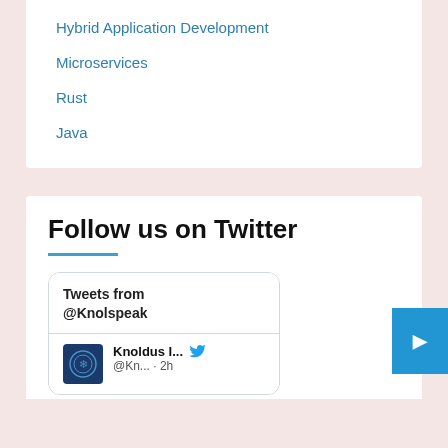Hybrid Application Development
Microservices
Rust
Java
Follow us on Twitter
Tweets from @Knolspeak
Knoldus I... @Kn... · 2h